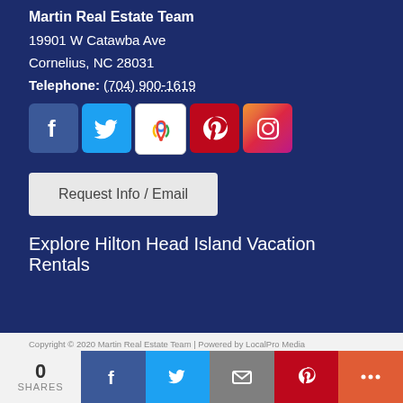Martin Real Estate Team
19901 W Catawba Ave
Cornelius, NC 28031
Telephone: (704) 900-1619
[Figure (other): Row of 5 social media icons: Facebook, Twitter, Google Maps, Pinterest, Instagram]
Request Info / Email
Explore Hilton Head Island Vacation Rentals
Copyright © 2020 Martin Real Estate Team | Powered by LocalPro Media
0 SHARES
[Figure (other): Share bar with Facebook, Twitter, Email, Pinterest, and More buttons]